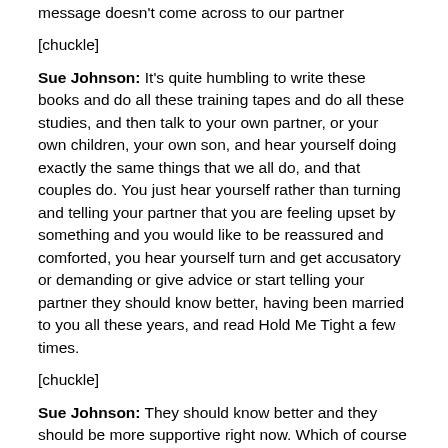message doesn't come across to our partner
[chuckle]
Sue Johnson: It's quite humbling to write these books and do all these training tapes and do all these studies, and then talk to your own partner, or your own children, your own son, and hear yourself doing exactly the same things that we all do, and that couples do. You just hear yourself rather than turning and telling your partner that you are feeling upset by something and you would like to be reassured and comforted, you hear yourself turn and get accusatory or demanding or give advice or start telling your partner they should know better, having been married to you all these years, and read Hold Me Tight a few times.
[chuckle]
Sue Johnson: They should know better and they should be more supportive right now. Which of course